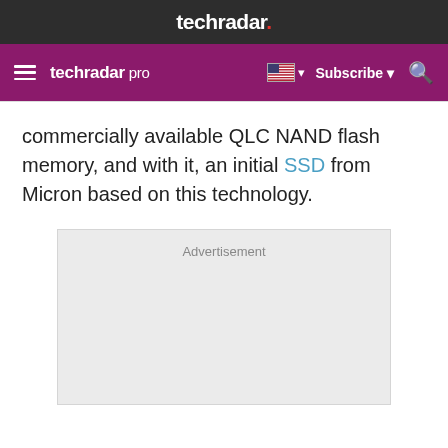techradar.
techradar pro  Subscribe
commercially available QLC NAND flash memory, and with it, an initial SSD from Micron based on this technology.
[Figure (other): Advertisement placeholder box with grey background and 'Advertisement' label text]